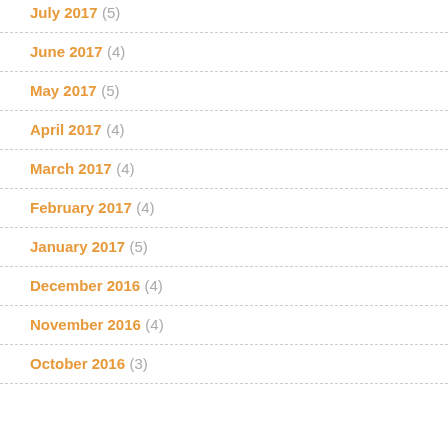July 2017 (5)
June 2017 (4)
May 2017 (5)
April 2017 (4)
March 2017 (4)
February 2017 (4)
January 2017 (5)
December 2016 (4)
November 2016 (4)
October 2016 (3)